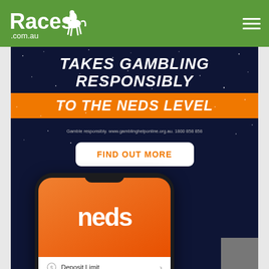Races.com.au
[Figure (screenshot): Neds gambling advertisement with dark blue starry background. Bold white italic text reads TAKES GAMBLING RESPONSIBLY, with orange banner reading TO THE NEDS LEVEL. Disclaimer text: Gamble responsibly. www.gamblinghelponline.org.au. 1800 858 858. White button with orange text: FIND OUT MORE. Below is a phone mockup showing the Neds app with orange screen, neds logo, and menu items: Deposit Limit and Curfew.]